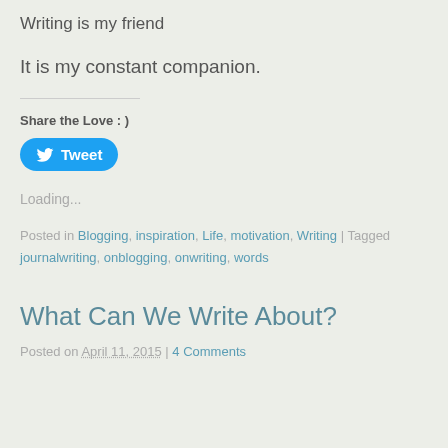Writing is my friend
It is my constant companion.
Share the Love : )
[Figure (other): Twitter Tweet button]
Loading...
Posted in Blogging, inspiration, Life, motivation, Writing | Tagged journalwriting, onblogging, onwriting, words
What Can We Write About?
Posted on April 11, 2015 | 4 Comments